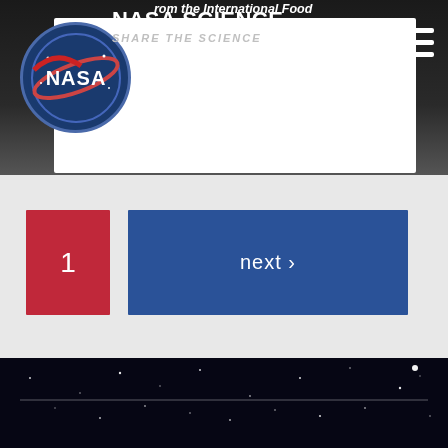NASA SCIENCE | SHARE THE SCIENCE
from the International Food Security and Monitoring Group, the worst drought conditions in 70 years across…
1
next >
[Figure (screenshot): NASA Science website footer with starfield background]